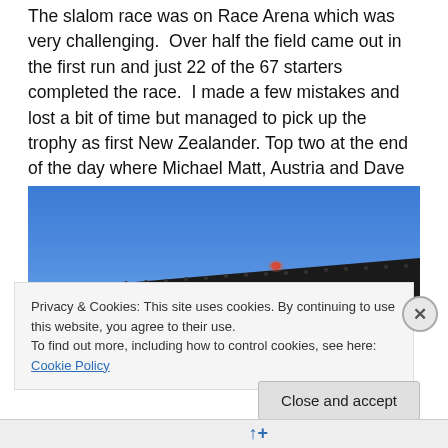The slalom race was on Race Arena which was very challenging.  Over half the field came out in the first run and just 22 of the 67 starters completed the race.  I made a few mistakes and lost a bit of time but managed to pick up the trophy as first New Zealander. Top two at the end of the day where Michael Matt, Austria and Dave Ryding, GBR.
[Figure (photo): Outdoor photo showing a rooftop silhouette against a clear blue evening/twilight sky, with a small red/orange light visible on the roof ridge.]
Privacy & Cookies: This site uses cookies. By continuing to use this website, you agree to their use.
To find out more, including how to control cookies, see here: Cookie Policy
Close and accept